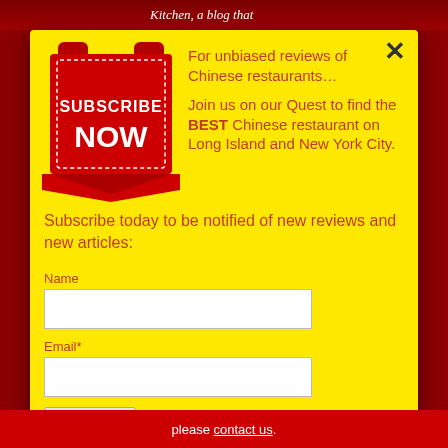[Figure (illustration): Red scroll/ribbon badge with 'SUBSCRIBE NOW' text in white bold letters on red background with dotted border]
For unbiased reviews of Chinese restaurants…
Join us on our Quest to find the BEST Chinese restaurant on Long Island and New York City.
Subscribe today to be notified of new reviews and new articles:
Name
Email*
Subscribe
please contact us.